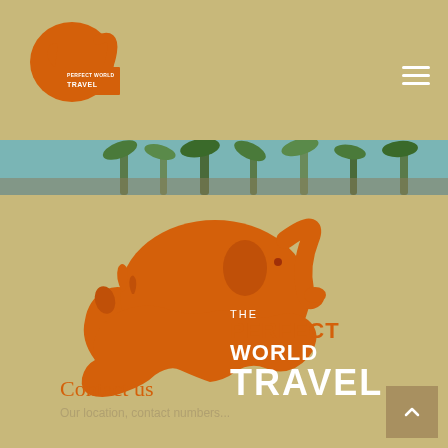[Figure (logo): Perfect World Travel small logo in header - orange elephant/rhino silhouette with PERFECT WORLD TRAVEL text]
[Figure (photo): Horizontal photo strip showing palm trees and tropical scenery with teal/blue sky]
[Figure (logo): Large Perfect World Travel logo - orange elephant and rhino silhouette with text THE PERFECT WORLD TRAVEL]
Contact us
Our location, contact numbers...